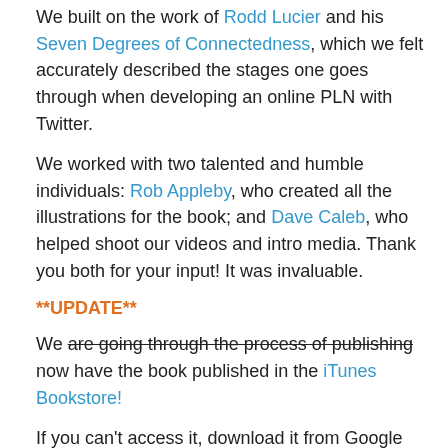We built on the work of Rodd Lucier and his Seven Degrees of Connectedness, which we felt accurately described the stages one goes through when developing an online PLN with Twitter.
We worked with two talented and humble individuals: Rob Appleby, who created all the illustrations for the book; and Dave Caleb, who helped shoot our videos and intro media. Thank you both for your input! It was invaluable.
**UPDATE**
We are going through the process of publishing now have the book published in the iTunes Bookstore!
If you can't access it, download it from Google Drive via this link.